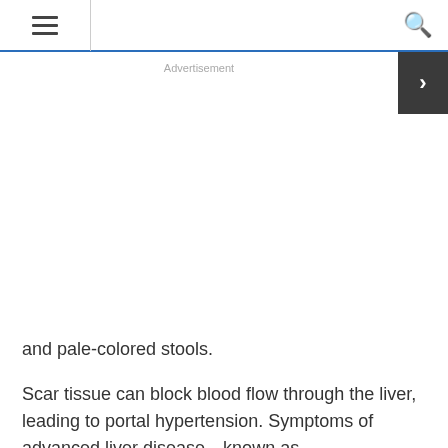≡  [search bar]  🔍
Advertisement
and pale-colored stools.
Scar tissue can block blood flow through the liver, leading to portal hypertension. Symptoms of advanced liver disease—known as decompensated cirrhosis—include